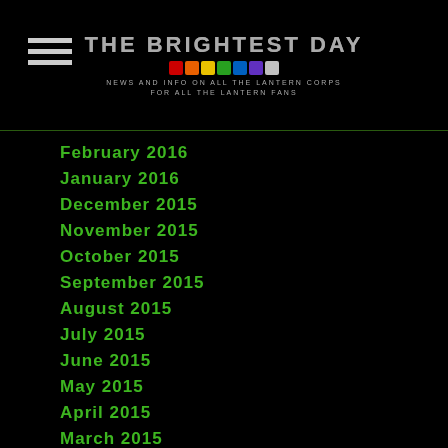THE BRIGHTEST DAY — News and info on all the Lantern Corps for all the Lantern fans
February 2016
January 2016
December 2015
November 2015
October 2015
September 2015
August 2015
July 2015
June 2015
May 2015
April 2015
March 2015
February 2015
January 2015
December 2014
November 2014
October 2014